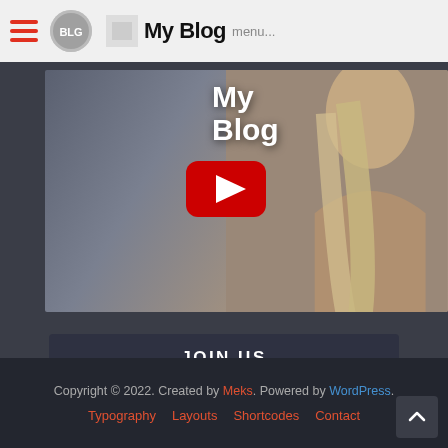My Blog — navigation bar with hamburger menu and logo
[Figure (screenshot): Video thumbnail showing a woman with long blonde hair at a beach, with a YouTube play button overlay and 'My Blog' watermark text]
JOIN US
[Figure (infographic): Social media icon buttons: Instagram (black), Twitter (blue), Facebook (dark blue), YouTube (red), Pinterest (red), RSS (orange)]
Copyright © 2022. Created by Meks. Powered by WordPress.
Typography  Layouts  Shortcodes  Contact